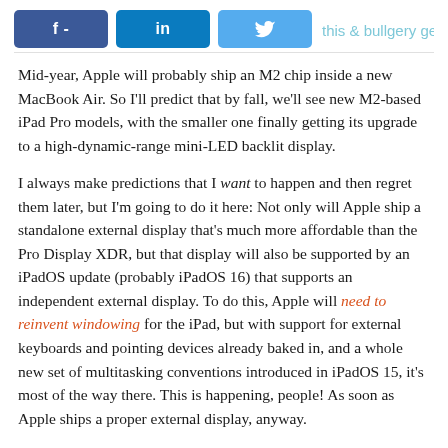[Figure (other): Social media share buttons: Facebook (f -), LinkedIn (in), Twitter (bird icon)]
Mid-year, Apple will probably ship an M2 chip inside a new MacBook Air. So I'll predict that by fall, we'll see new M2-based iPad Pro models, with the smaller one finally getting its upgrade to a high-dynamic-range mini-LED backlit display.
I always make predictions that I want to happen and then regret them later, but I'm going to do it here: Not only will Apple ship a standalone external display that's much more affordable than the Pro Display XDR, but that display will also be supported by an iPadOS update (probably iPadOS 16) that supports an independent external display. To do this, Apple will need to reinvent windowing for the iPad, but with support for external keyboards and pointing devices already baked in, and a whole new set of multitasking conventions introduced in iPadOS 15, it's most of the way there. This is happening, people! As soon as Apple ships a proper external display, anyway.